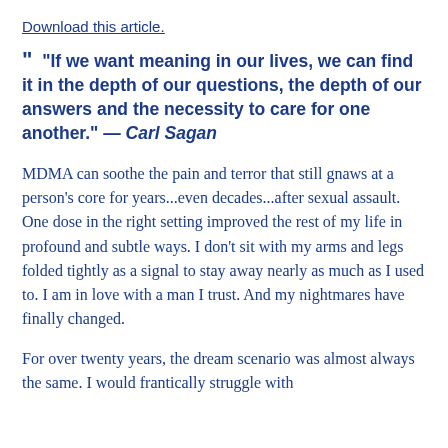Download this article.
“If we want meaning in our lives, we can find it in the depth of our questions, the depth of our answers and the necessity to care for one another.” — Carl Sagan
MDMA can soothe the pain and terror that still gnaws at a person’s core for years...even decades...after sexual assault. One dose in the right setting improved the rest of my life in profound and subtle ways. I don’t sit with my arms and legs folded tightly as a signal to stay away nearly as much as I used to. I am in love with a man I trust. And my nightmares have finally changed.
For over twenty years, the dream scenario was almost always the same. I would frantically struggle with